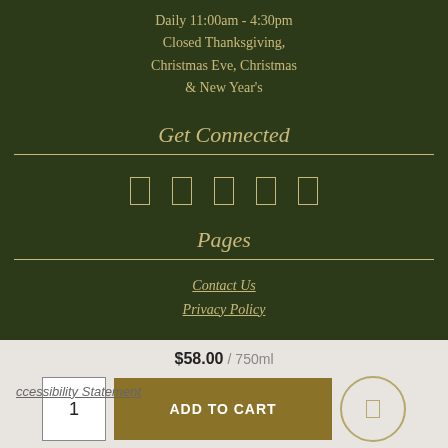Daily 11:00am - 4:30pm
Closed Thanksgiving,
Christmas Eve, Christmas
& New Year's
Get Connected
[Figure (other): Row of 5 social media icon placeholders rendered as small outlined rectangles]
Pages
Contact Us
Privacy Policy
Accessibility Statement
$58.00 / 750ml
ADD TO CART